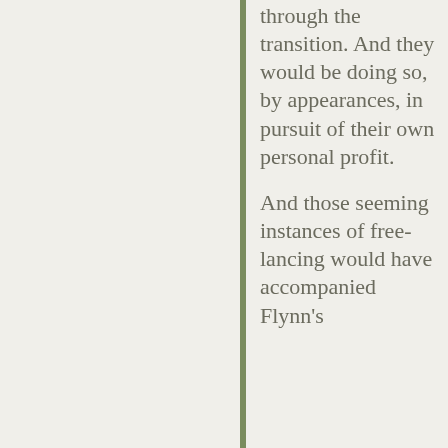through the transition. And they would be doing so, by appearances, in pursuit of their own personal profit.

And those seeming instances of free-lancing would have accompanied Flynn's